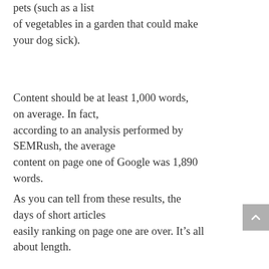pets (such as a list of vegetables in a garden that could make your dog sick).
Content should be at least 1,000 words, on average. In fact, according to an analysis performed by SEMRush, the average content on page one of Google was 1,890 words.
As you can tell from these results, the days of short articles easily ranking on page one are over. It’s all about length.
But there are exceptions to this, which we will discuss later.
Additionally, content should contain other forms of media.